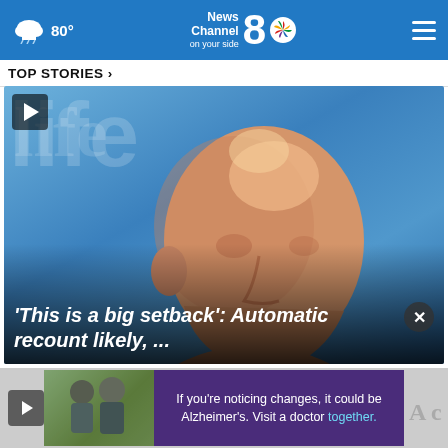News Channel 8 on your side — 80°
TOP STORIES ›
[Figure (screenshot): Video thumbnail showing a bald man speaking, with blue background and partial text 'life' visible. Headline overlay reads: 'This is a big setback': Automatic recount likely, ...]
[Figure (screenshot): Bottom strip showing a small video thumbnail with two men, an advertisement banner for Alzheimer's awareness, and a partial right thumbnail.]